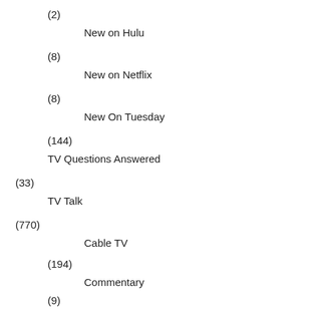(2)
New on Hulu
(8)
New on Netflix
(8)
New On Tuesday
(144)
TV Questions Answered
(33)
TV Talk
(770)
Cable TV
(194)
Commentary
(9)
Giveaways
(50)